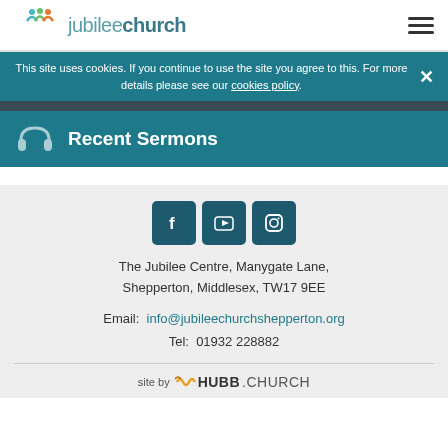[Figure (logo): Jubilee Church logo with colorful figures above and teal text 'jubileechurch']
This site uses cookies. If you continue to use the site you agree to this. For more details please see our cookies policy.
Recent Sermons
[Figure (infographic): Three social media icon buttons: Facebook, YouTube, Instagram]
The Jubilee Centre, Manygate Lane, Shepperton, Middlesex, TW17 9EE
Email: info@jubileechurchshepperton.org
Tel: 01932 228882
site by HUBB.CHURCH